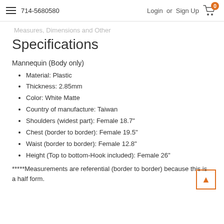714-5680580  Login or Sign Up
Measures, Dimensions and Other Specifications
Mannequin (Body only)
Material: Plastic
Thickness: 2.85mm
Color: White Matte
Country of manufacture: Taiwan
Shoulders (widest part): Female 18.7"
Chest (border to border): Female 19.5"
Waist (border to border): Female 12.8"
Height (Top to bottom-Hook included): Female 26"
*****Measurements are referential (border to border) because this is a half form.